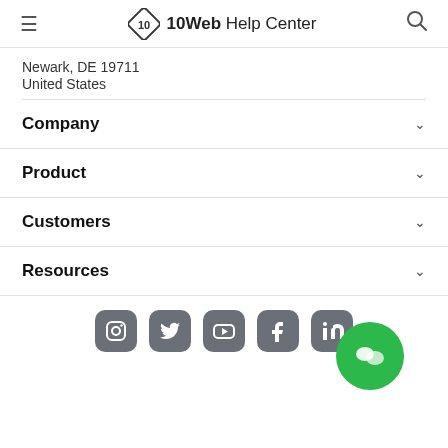10Web Help Center
Newark, DE 19711
United States
Company
Product
Customers
Resources
[Figure (other): Social media icons: Instagram, Twitter, YouTube, Facebook, LinkedIn]